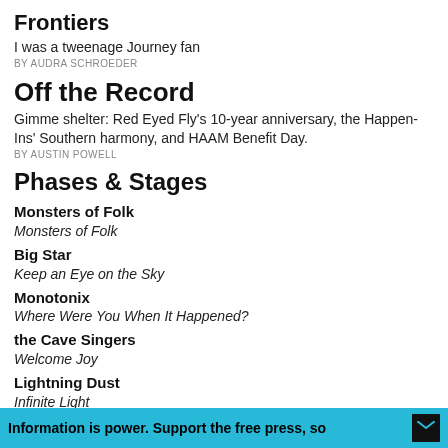Frontiers
I was a tweenage Journey fan
BY AUDRA SCHROEDER
Off the Record
Gimme shelter: Red Eyed Fly's 10-year anniversary, the Happen-Ins' Southern harmony, and HAAM Benefit Day.
BY AUSTIN POWELL
Phases & Stages
Monsters of Folk
Monsters of Folk
Big Star
Keep an Eye on the Sky
Monotonix
Where Were You When It Happened?
the Cave Singers
Welcome Joy
Lightning Dust
Infinite Light
the Feelies
Crazy Rhythms, The Good Earth
Information is power. Support the free press, so